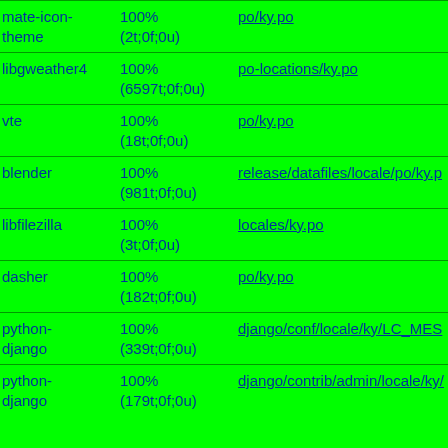| Package | Status | File |
| --- | --- | --- |
| mate-icon-theme | 100%
(2t;0f;0u) | po/ky.po |
| libgweather4 | 100%
(6597t;0f;0u) | po-locations/ky.po |
| vte | 100%
(18t;0f;0u) | po/ky.po |
| blender | 100%
(981t;0f;0u) | release/datafiles/locale/po/ky.po |
| libfilezilla | 100%
(3t;0f;0u) | locales/ky.po |
| dasher | 100%
(182t;0f;0u) | po/ky.po |
| python-django | 100%
(339t;0f;0u) | django/conf/locale/ky/LC_MES... |
| python-django | 100%
(179t;0f;0u) | django/contrib/admin/locale/ky/... |